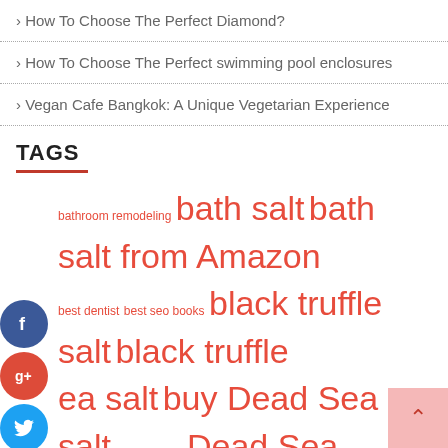> How To Choose The Perfect Diamond?
> How To Choose The Perfect swimming pool enclosures
> Vegan Cafe Bangkok: A Unique Vegetarian Experience
TAGS
bathroom remodeling bath salt bath salt from Amazon best dentist best seo books black truffle salt black truffle sea salt buy Dead Sea salt care chatbot Dead Sea salt Dead Sea salt from Amazon dental care dental implant dentist digital marketing digital marketing book electrical services electrician Facebook Chatbot Facebook Messenger Bot Health himalayan pink salt Himalayan salt IT Services Messenger Bot Pink Himalayan